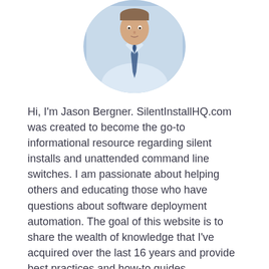[Figure (photo): Circular cropped photo of Jason Bergner, a man in a light blue shirt and striped tie, shown from chest up against a white background.]
Hi, I'm Jason Bergner. SilentInstallHQ.com was created to become the go-to informational resource regarding silent installs and unattended command line switches. I am passionate about helping others and educating those who have questions about software deployment automation. The goal of this website is to share the wealth of knowledge that I've acquired over the last 16 years and provide best practices and how-to guides.
LEGAL INFORMATION